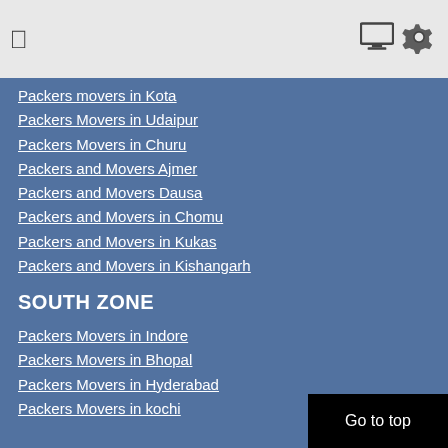☐
Packers movers in Kota
Packers Movers in Udaipur
Packers Movers in Churu
Packers and Movers Ajmer
Packers and Movers Dausa
Packers and Movers in Chomu
Packers and Movers in Kukas
Packers and Movers in Kishangarh
SOUTH ZONE
Packers Movers in Indore
Packers Movers in Bhopal
Packers Movers in Hyderabad
Packers Movers in kochi
KARNATAKA
Packers Movers in Bangalore